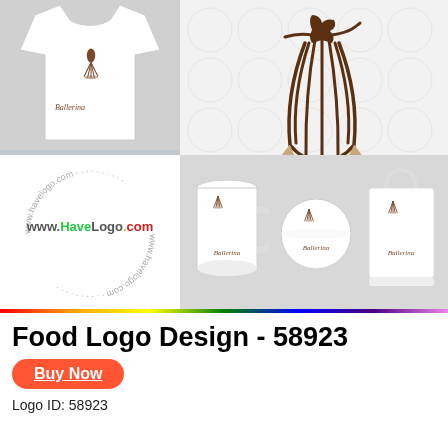[Figure (illustration): Ballerina pastry shop logo mockup on t-shirt and car, plus merchandise items (mug, ball, bag). Shows 'Ballerina Pasticceria Artistica Italiana' logo with whisk/ballerina figure. Includes www.HaveLogo.com watermark.]
Food Logo Design - 58923
Buy Now
Logo ID: 58923